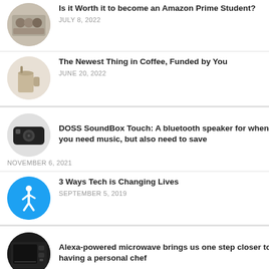Is it Worth it to become an Amazon Prime Student? | JULY 8, 2022
The Newest Thing in Coffee, Funded by You | JUNE 20, 2022
DOSS SoundBox Touch: A bluetooth speaker for when you need music, but also need to save | NOVEMBER 6, 2021
3 Ways Tech is Changing Lives | SEPTEMBER 5, 2019
Alexa-powered microwave brings us one step closer to having a personal chef | SEPTEMBER 3, 2019
[Figure (infographic): Social sharing bar with icons for Twitter, Facebook, Email, WhatsApp, SMS, and More]